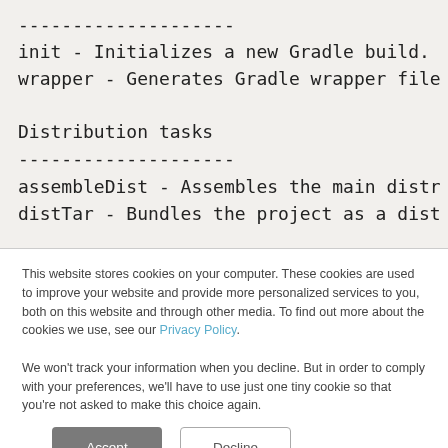--------------------
init - Initializes a new Gradle build.
wrapper - Generates Gradle wrapper file

Distribution tasks
--------------------
assembleDist - Assembles the main distr
distTar - Bundles the project as a dist
This website stores cookies on your computer. These cookies are used to improve your website and provide more personalized services to you, both on this website and through other media. To find out more about the cookies we use, see our Privacy Policy.

We won't track your information when you decline. But in order to comply with your preferences, we'll have to use just one tiny cookie so that you're not asked to make this choice again.
Accept
Decline